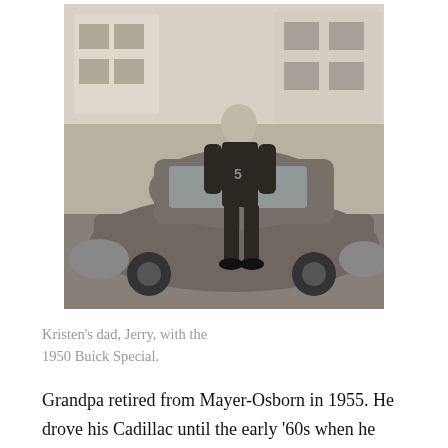[Figure (photo): Black and white photograph of a young man (Jerry) standing next to a 1950 Buick Special car, with buildings visible in the background.]
Kristen's dad, Jerry, with the 1950 Buick Special.
Grandpa retired from Mayer-Osborn in 1955. He drove his Cadillac until the early '60s when he bought a new Oldsmobile that he drove for a number of years, finally trading for his last car, a 1968 Olds, which is presently in Dad's barn. I remember that car and sitting on its burning